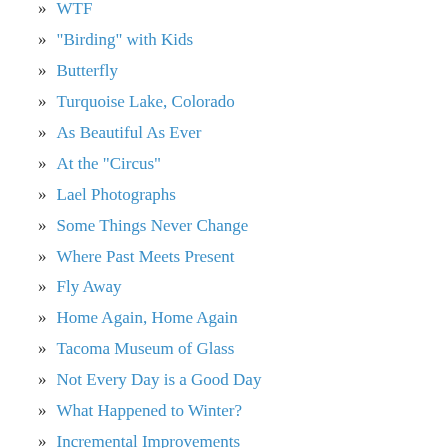WTF
"Birding" with Kids
Butterfly
Turquoise Lake, Colorado
As Beautiful As Ever
At the "Circus"
Lael Photographs
Some Things Never Change
Where Past Meets Present
Fly Away
Home Again, Home Again
Tacoma Museum of Glass
Not Every Day is a Good Day
What Happened to Winter?
Incremental Improvements
PBS's This Emotional Life Premiers
To ri d...